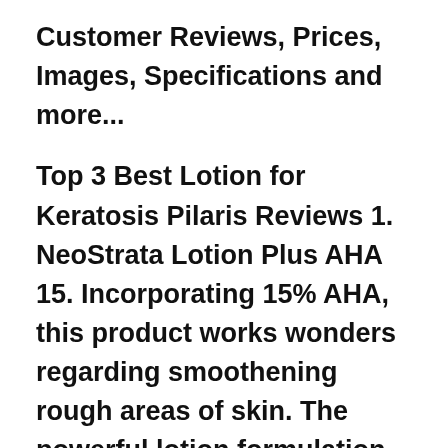Customer Reviews, Prices, Images, Specifications and more...
Top 3 Best Lotion for Keratosis Pilaris Reviews 1. NeoStrata Lotion Plus AHA 15. Incorporating 15% AHA, this product works wonders regarding smoothening rough areas of skin. The powerful lotion formulation works to penetrate deep into the skin for maximum smoothness. For this reason, NeoStrata Lotion Plus AHA 15 has been dubbed the best lotion For Rough & Bumpy Skin. Roughness Relief Lotion (120) Eucerin Roughness Relief Lotion provides 48 hours of hydration and helps smooth rough and bumpy skin. Delivers 48 hour hydration Smoothes rough and bumpy skin Enriched with Urea Fragrance and dye free More Details. For Rough & Scaly Spots. Roughness